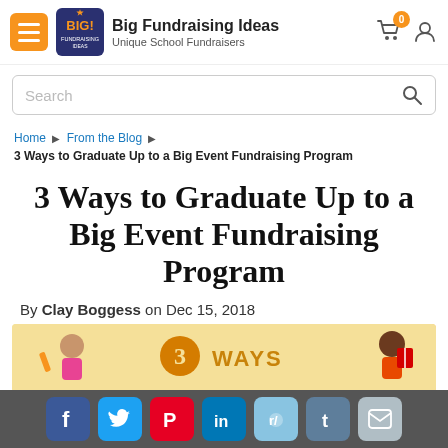Big Fundraising Ideas — Unique School Fundraisers
Search
Home ▶ From the Blog ▶
3 Ways to Graduate Up to a Big Event Fundraising Program
3 Ways to Graduate Up to a Big Event Fundraising Program
By Clay Boggess on Dec 15, 2018
[Figure (illustration): Illustrated promotional banner with '3 WAYS' text and cartoon student characters on a yellow-orange background]